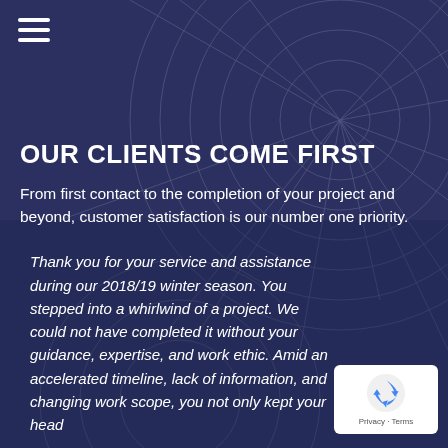[Figure (illustration): Dark navy blue background with faint geometric circular/web line patterns overlaid]
OUR CLIENTS COME FIRST
From first contact to the completion of your project and beyond, customer satisfaction is our number one priority.
Thank you for your service and assistance during our 2018/19 winter season. You stepped into a whirlwind of a project. We could not have completed it without your guidance, expertise, and work ethic. Amid an accelerated timeline, lack of information, and changing work scope, you not only kept your head
[Figure (logo): Google reCAPTCHA badge with blue recycling arrow icon and 'Privacy - Terms' text on white rounded background]